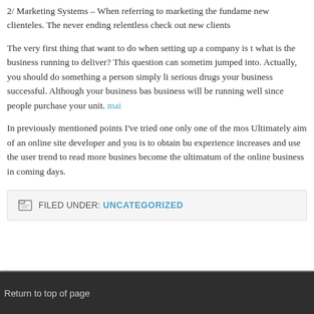2/ Marketing Systems – When referring to marketing the fundame new clienteles. The never ending relentless check out new clients
The very first thing that want to do when setting up a company is t what is the business running to deliver? This question can sometim jumped into. Actually, you should do something a person simply li serious drugs your business successful. Although your business bas business will be running well since people purchase your unit. mai
In previously mentioned points I've tried one only one of the mos Ultimately aim of an online site developer and you is to obtain bu experience increases and use the user trend to read more busines become the ultimatum of the online business in coming days.
FILED UNDER: UNCATEGORIZED
Return to top of page